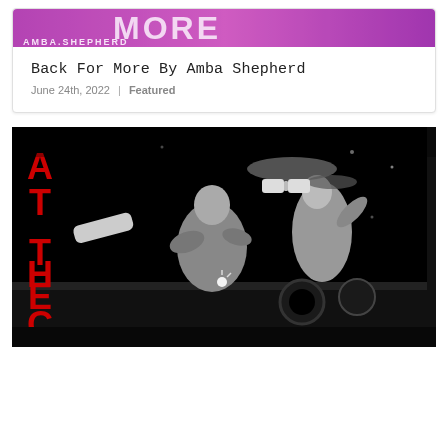[Figure (photo): Top portion of a music/album cover image showing 'AMBA.SHEPHERD' text on a purple/pink background with bold white 'MORE' text partially visible]
Back For More By Amba Shepherd
June 24th, 2022 | Featured
[Figure (photo): High-contrast black and white stylized photo of people at a club/event with large red vertical letters spelling 'AT THE CLU' visible on the left side]